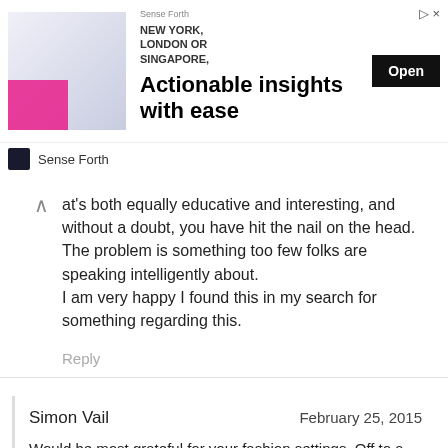[Figure (infographic): Advertisement banner: image of man in suit on left with pink accent block, text 'NEW YORK, LONDON OR SINGAPORE,' then large headline 'Actionable insights with ease', black 'Open' button on right, 'Sense Forth' brand row at bottom]
at's both equally educative and interesting, and without a doubt, you have hit the nail on the head. The problem is something too few folks are speaking intelligently about.
I am very happy I found this in my search for something regarding this.
Reply
Simon Vail
February 25, 2015
Would be most grateful for your fashion settings. Off to a first fashion shoot on Saturday. Thanks. Simon Vail
Reply